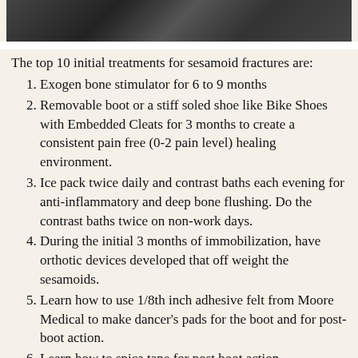[Figure (photo): Partial image at top of page showing a dark background, appears to be a medical or foot-related photo cropped at the top]
The top 10 initial treatments for sesamoid fractures are:
1. Exogen bone stimulator for 6 to 9 months
2. Removable boot or a stiff soled shoe like Bike Shoes with Embedded Cleats for 3 months to create a consistent pain free (0-2 pain level) healing environment.
3. Ice pack twice daily and contrast baths each evening for anti-inflammatory and deep bone flushing. Do the contrast baths twice on non-work days.
4. During the initial 3 months of immobilization, have orthotic devices developed that off weight the sesamoids.
5. Learn how to use 1/8th inch adhesive felt from Moore Medical to make dancer’s pads for the boot and for post-boot action.
6. Learn how to spica tape for post boot action
7. When you are not wearing the boot, avoid feet...